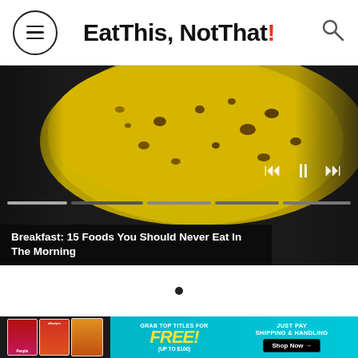Eat This, Not That!
[Figure (screenshot): Video player showing a close-up of spotted bananas on a dark background with media controls (rewind, pause, fast-forward) and a progress bar with multiple segments]
Breakfast: 15 Foods You Should Never Eat In The Morning
[Figure (other): Single dark bullet/dot indicator in white space (slideshow or pagination dot)]
[Figure (infographic): Advertisement banner: Grab top titles for FREE! (up to $100) Just Pay Shipping & Handling. Shop Now. Shows People and allrecipes magazine covers.]